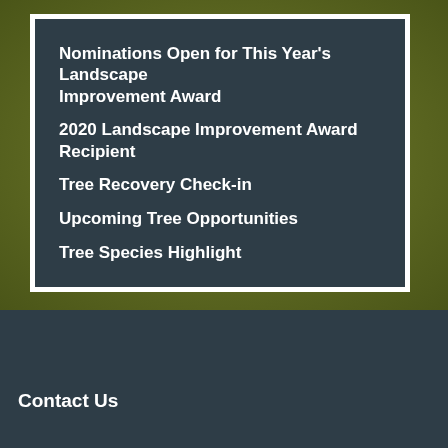Nominations Open for This Year's Landscape Improvement Award
2020 Landscape Improvement Award Recipient
Tree Recovery Check-in
Upcoming Tree Opportunities
Tree Species Highlight
Contact Us